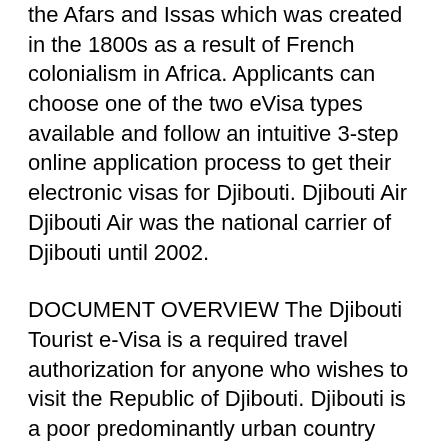the Afars and Issas which was created in the 1800s as a result of French colonialism in Africa. Applicants can choose one of the two eVisa types available and follow an intuitive 3-step online application process to get their electronic visas for Djibouti. Djibouti Air Djibouti Air was the national carrier of Djibouti until 2002.
DOCUMENT OVERVIEW The Djibouti Tourist e-Visa is a required travel authorization for anyone who wishes to visit the Republic of Djibouti. Djibouti is a poor predominantly urban country characterized by high rates of illiteracy unemployment and childhood malnutrition. Djibouti gained its independence from France on June 27 1977.